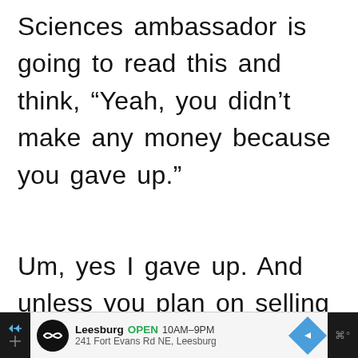Sciences ambassador is going to read this and think, “Yeah, you didn’t make any money because you gave up.”
Um, yes I gave up. And unless you plan on selling BS while selling your soul for the rest of your whole life too, you will
[Figure (screenshot): Advertisement bar at bottom: Leesburg OPEN 10AM-9PM, 241 Fort Evans Rd NE, Leesburg with navigation icons]